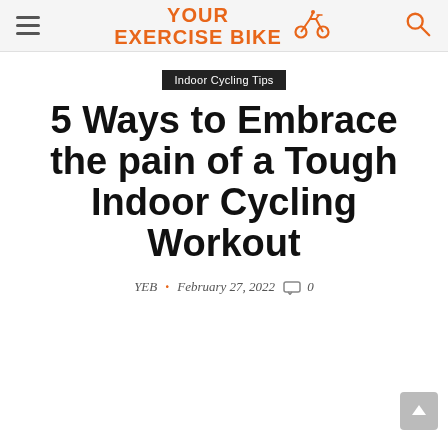YOUR EXERCISE BIKE
Indoor Cycling Tips
5 Ways to Embrace the pain of a Tough Indoor Cycling Workout
YEB · February 27, 2022  0